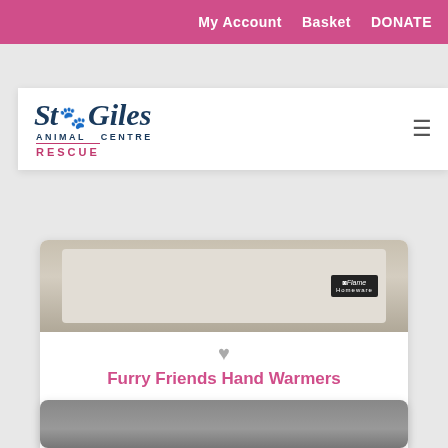My Account  Basket  DONATE
[Figure (logo): St Giles Animal Centre Rescue logo with paw print]
[Figure (photo): Product image of Furry Friends Hand Warmers in cream/beige color with Flame Homeware branding on black label]
Furry Friends Hand Warmers
Keep your fingers toastie with this set of two furry friends handwarmers
£4.00